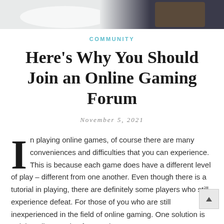[Figure (photo): Top banner image strip showing gaming-related photos including a game controller on left and a mobile phone on right]
COMMUNITY
Here's Why You Should Join an Online Gaming Forum
November 5, 2021
In playing online games, of course there are many conveniences and difficulties that you can experience. This is because each game does have a different level of play – different from one another. Even though there is a tutorial in playing, there are definitely some players who still experience defeat. For those of you who are still inexperienced in the field of online gaming. One solution is to join online gaming forums, here are some reasons: